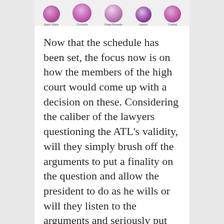[Figure (illustration): A row of five purple orchid flowers with labels beneath each: Earth Glaze, Cucumis, Patas Borealis, Lesson, Cutting]
Now that the schedule has been set, the focus now is on how the members of the high court would come up with a decision on these. Considering the caliber of the lawyers questioning the ATL's validity, will they simply brush off the arguments to put a finality on the question and allow the president to do as he wills or will they listen to the arguments and seriously put the law into question?